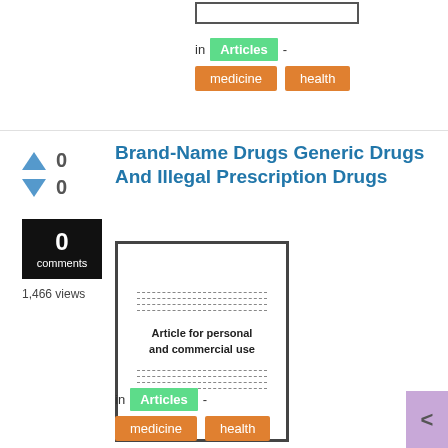[Figure (screenshot): Thumbnail image placeholder at top of page (bordered rectangle)]
in Articles -
medicine   health
Brand-Name Drugs Generic Drugs And Illegal Prescription Drugs
[Figure (illustration): Article thumbnail showing dashed lines and text: Article for personal and commercial use]
0 comments
1,466 views
in Articles -
medicine   health